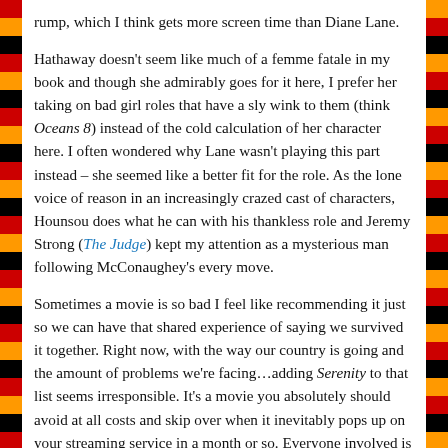rump, which I think gets more screen time than Diane Lane.
Hathaway doesn't seem like much of a femme fatale in my book and though she admirably goes for it here, I prefer her taking on bad girl roles that have a sly wink to them (think Oceans 8) instead of the cold calculation of her character here. I often wondered why Lane wasn't playing this part instead – she seemed like a better fit for the role. As the lone voice of reason in an increasingly crazed cast of characters, Hounsou does what he can with his thankless role and Jeremy Strong (The Judge) kept my attention as a mysterious man following McConaughey's every move.
Sometimes a movie is so bad I feel like recommending it just so we can have that shared experience of saying we survived it together. Right now, with the way our country is going and the amount of problems we're facing…adding Serenity to that list seems irresponsible. It's a movie you absolutely should avoid at all costs and skip over when it inevitably pops up on your streaming service in a month or so. Everyone involved is capable of better – even the title needed more thought.